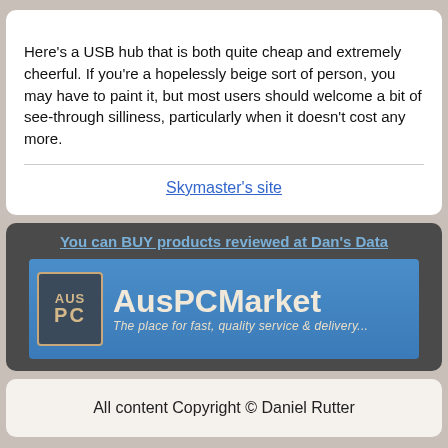Here's a USB hub that is both quite cheap and extremely cheerful. If you're a hopelessly beige sort of person, you may have to paint it, but most users should welcome a bit of see-through silliness, particularly when it doesn't cost any more.
Skymaster's site
[Figure (screenshot): AusPCMarket advertisement banner with text 'You can BUY products reviewed at Dan's Data' and AusPCMarket logo with tagline 'The place for fast, quality service & delivery...']
All content Copyright © Daniel Rutter